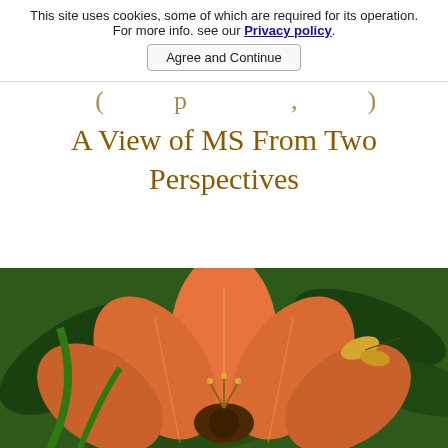This site uses cookies, some of which are required for its operation. For more info. see our Privacy policy.
Agree and Continue
A View of MS From Two Perspectives
[Figure (photo): Close-up photograph of an orange/coral lily flower with green foliage in the background]